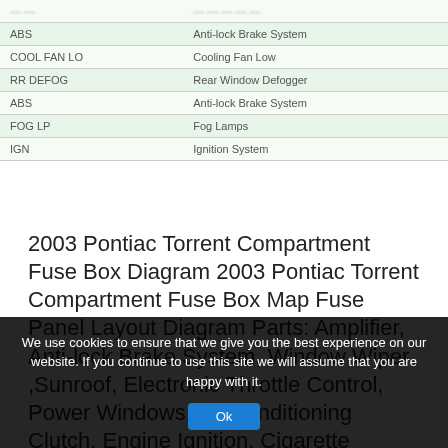| Fuse | Description |
| --- | --- |
| ABS | Anti-lock Brake System |
| COOL FAN LO | Cooling Fan Low |
| RR DEFOG | Rear Window Defogger |
| ABS | Anti-lock Brake System |
| FOG LP | Fog Lamps |
| IGN | Ignition System |
2003 Pontiac Torrent Compartment Fuse Box Diagram 2003 Pontiac Torrent Compartment Fuse Box Map Fuse Panel Layout Diagram Parts: Amplifier, Anti-lock Brake System, Window Wiper ,Sunroof, Electronic Throttle Control, Power Windows, Air Conditioning Clutch, Engine Ignition, Cigarette Lighter, Driver's Side Headlamp, Cooling Fan High, Heated Seats, Powertrain, Fuel Pump, Air Conditioning Diode, Trailer Lighting
We use cookies to ensure that we give you the best experience on our website. If you continue to use this site we will assume that you are happy with it.